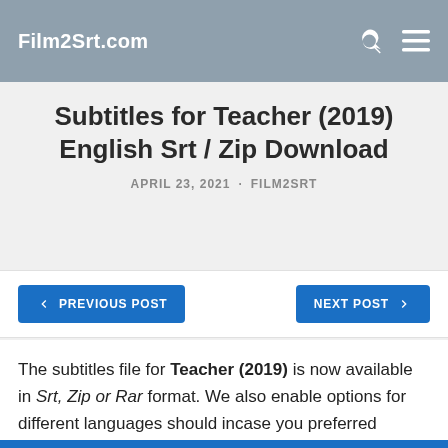Film2Srt.com
Subtitles for Teacher (2019) English Srt / Zip Download
APRIL 23, 2021 · FILM2SRT
PREVIOUS POST
NEXT POST
The subtitles file for Teacher (2019) is now available in Srt, Zip or Rar format. We also enable options for different languages should incase you preferred another language rather than English.